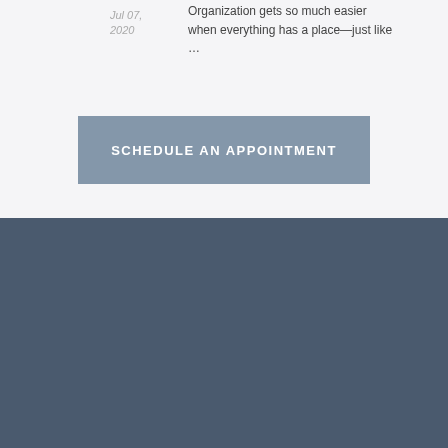Jul 07, 2020
Organization gets so much easier when everything has a place—just like …
SCHEDULE AN APPOINTMENT
Recent Posts
Elegant River North Feature Wall
October 13, 2021
Turning an unused space into an entertainment nook
October 6, 2021